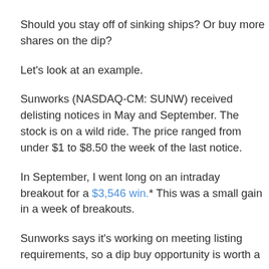Should you stay off of sinking ships? Or buy more shares on the dip?
Let's look at an example.
Sunworks (NASDAQ-CM: SUNW) received delisting notices in May and September. The stock is on a wild ride. The price ranged from under $1 to $8.50 the week of the last notice.
In September, I went long on an intraday breakout for a $3,546 win.* This was a small gain in a week of breakouts.
Sunworks says it's working on meeting listing requirements, so a dip buy opportunity is worth a